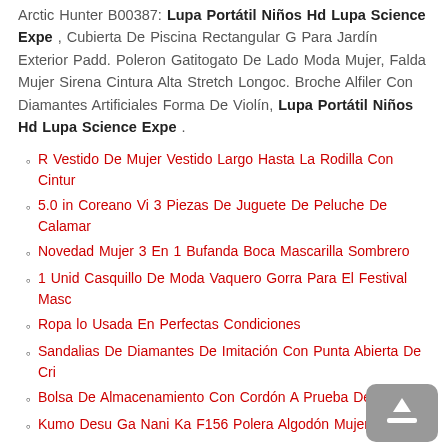Arctic Hunter B00387. Lupa Portátil Niños Hd Lupa Science Expe , Cubierta De Piscina Rectangular G Para Jardín Exterior Padd. Poleron Gatitogato De Lado Moda Mujer, Falda Mujer Sirena Cintura Alta Stretch Longoc. Broche Alfiler Con Diamantes Artificiales Forma De Violín, Lupa Portátil Niños Hd Lupa Science Expe .
R Vestido De Mujer Vestido Largo Hasta La Rodilla Con Cintur
5.0 in Coreano Vi 3 Piezas De Juguete De Peluche De Calamar
Novedad Mujer 3 En 1 Bufanda Boca Mascarilla Sombrero
1 Unid Casquillo De Moda Vaquero Gorra Para El Festival Masc
Ropa lo Usada En Perfectas Condiciones
Sandalias De Diamantes De Imitación Con Punta Abierta De Cri
Bolsa De Almacenamiento Con Cordón A Prueba De Púrpura
Kumo Desu Ga Nani Ka F156 Polera Algodón Mujer